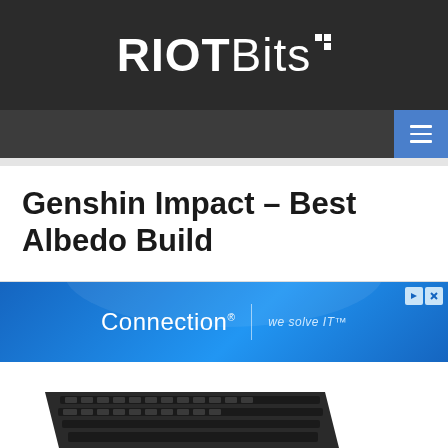RIOTBits
Genshin Impact – Best Albedo Build
[Figure (screenshot): Connection advertisement banner with blue gradient background. Shows 'Connection' logo with tagline 'we solve IT'.]
[Figure (photo): Partial view of a dark keyboard photographed from a low angle.]
English